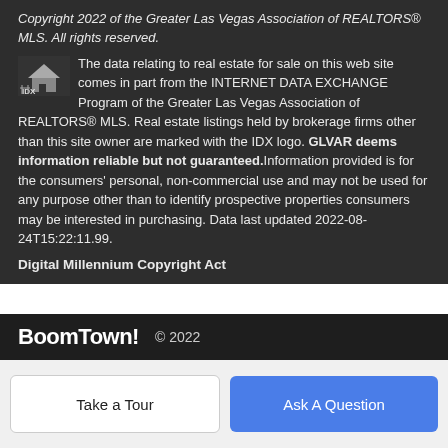Copyright 2022 of the Greater Las Vegas Association of REALTORS® MLS. All rights reserved.
The data relating to real estate for sale on this web site comes in part from the INTERNET DATA EXCHANGE Program of the Greater Las Vegas Association of REALTORS® MLS. Real estate listings held by brokerage firms other than this site owner are marked with the IDX logo. GLVAR deems information reliable but not guaranteed.Information provided is for the consumers' personal, non-commercial use and may not be used for any purpose other than to identify prospective properties consumers may be interested in purchasing. Data last updated 2022-08-24T15:22:11.99.
Digital Millennium Copyright Act
BoomTown! © 2022
Take a Tour
Ask A Question